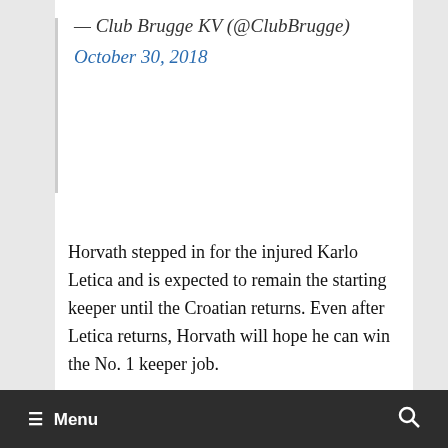— Club Brugge KV (@ClubBrugge) October 30, 2018
Horvath stepped in for the injured Karlo Letica and is expected to remain the starting keeper until the Croatian returns. Even after Letica returns, Horvath will hope he can win the No. 1 keeper job.
Club Brugge next battle Genk in league play on Nov. 3rd.
≡ Menu  🔍